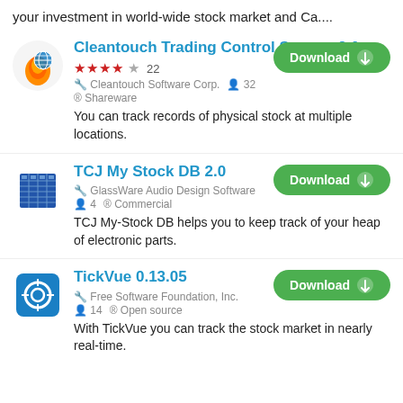your investment in world-wide stock market and Ca....
Cleantouch Trading Control System 2.0
★★★★☆ 22  Cleantouch Software Corp.  32  Shareware  Download
You can track records of physical stock at multiple locations.
TCJ My Stock DB 2.0
GlassWare Audio Design Software  4  Commercial  Download
TCJ My-Stock DB helps you to keep track of your heap of electronic parts.
TickVue 0.13.05
Free Software Foundation, Inc.  14  Open source  Download
With TickVue you can track the stock market in nearly real-time.